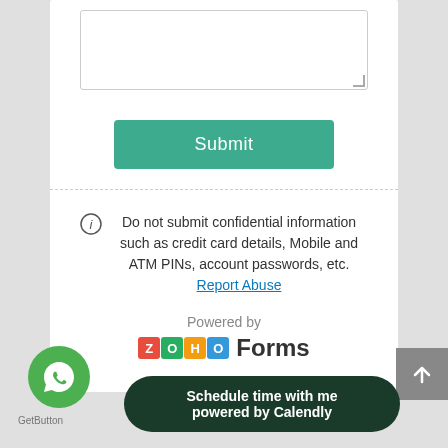[Figure (screenshot): A textarea input field (empty, resizable) at the top of a web form]
Submit
Do not submit confidential information such as credit card details, Mobile and ATM PINs, account passwords, etc. Report Abuse
Powered by
[Figure (logo): Zoho Forms logo — colorful ZOHO letter blocks followed by 'Forms' in bold text]
[Figure (illustration): WhatsApp icon button (green circle with white phone/chat icon)]
GetButton
[Figure (illustration): Scroll to top button (gray square with white up arrow)]
Schedule time with me powered by Calendly